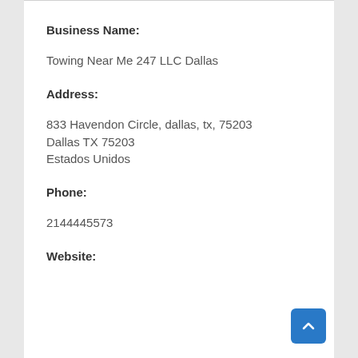Business Name:
Towing Near Me 247 LLC Dallas
Address:
833 Havendon Circle, dallas, tx, 75203
Dallas TX 75203
Estados Unidos
Phone:
2144445573
Website: